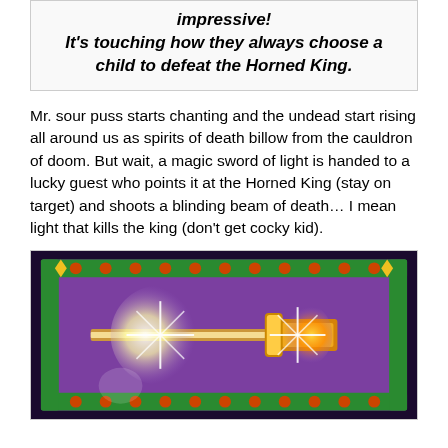impressive! It's touching how they always choose a child to defeat the Horned King.
Mr. sour puss starts chanting and the undead start rising all around us as spirits of death billow from the cauldron of doom. But wait, a magic sword of light is handed to a lucky guest who points it at the Horned King (stay on target) and shoots a blinding beam of death… I mean light that kills the king (don't get cocky kid).
[Figure (photo): A glowing magical sword on a purple decorative background with colorful ornamental border featuring green, orange, and yellow designs. The sword emits bright white star-burst light effects.]